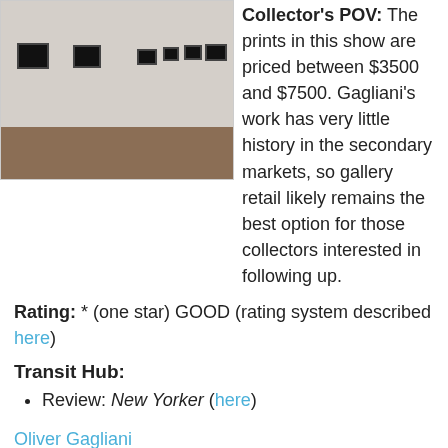[Figure (photo): Interior of a gallery showing framed photographs on white walls with a wood floor]
Collector's POV: The prints in this show are priced between $3500 and $7500. Gagliani's work has very little history in the secondary markets, so gallery retail likely remains the best option for those collectors interested in following up.
Rating: * (one star) GOOD (rating system described here)
Transit Hub:
Review: New Yorker (here)
Oliver Gagliani
Through August 9th
Gitterman Gallery
41 East 57th Street
Suite 1103